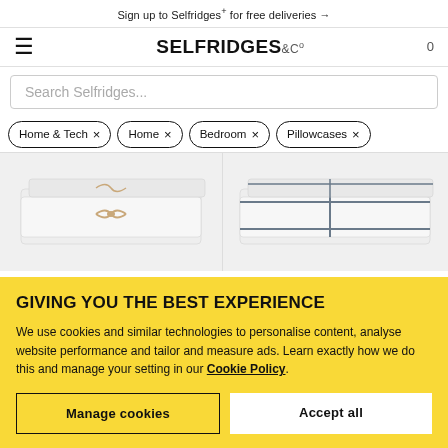Sign up to Selfridges+ for free deliveries →
[Figure (logo): Selfridges & Co logo with hamburger menu and cart count 0]
Search Selfridges...
Home & Tech ×
Home ×
Bedroom ×
Pillowcases ×
[Figure (photo): Two white pillowcases with tan/beige trim folded and stacked]
[Figure (photo): White pillowcases with grey/charcoal stripe trim folded and stacked]
GIVING YOU THE BEST EXPERIENCE
We use cookies and similar technologies to personalise content, analyse website performance and tailor and measure ads. Learn exactly how we do this and manage your setting in our Cookie Policy.
Manage cookies
Accept all